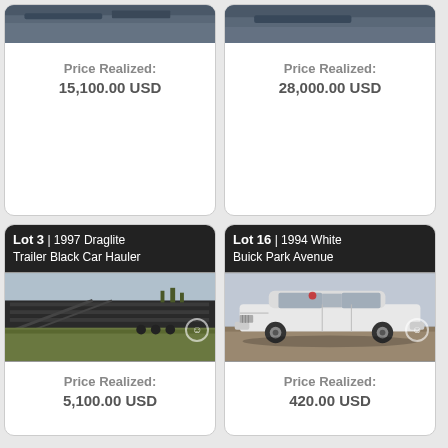[Figure (photo): Top portion of a vehicle photo, clipped — left card]
Price Realized:
15,100.00 USD
[Figure (photo): Top portion of a vehicle photo, clipped — right card]
Price Realized:
28,000.00 USD
[Figure (photo): Lot 3 | 1997 Draglite Trailer Black Car Hauler — photo of a black car hauler trailer in a field]
Price Realized:
5,100.00 USD
[Figure (photo): Lot 16 | 1994 White Buick Park Avenue — photo of a white Buick sedan outdoors]
Price Realized:
420.00 USD